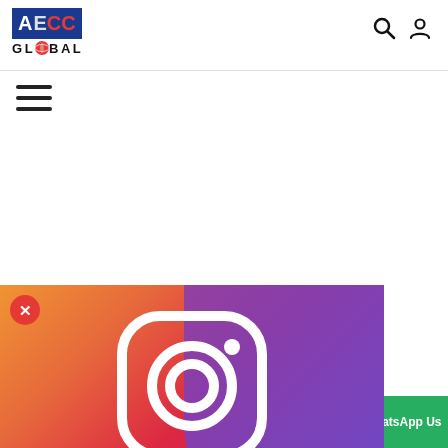[Figure (logo): AECC Global logo with blue background letters and red CC, globe icon in GLOBAL text]
[Figure (screenshot): Instagram follow popup banner: gradient orange to purple background, white camera icon, '22000+ users follow us on Instagram', 'You too will', 'Follow AECC' button, red X close button]
take the GRE GRE at Home r. Candidates E exam are e they have rts, the best he university would have
[Figure (infographic): Chat bubble: We're Online! How may I help you today? with avatar icon]
Enquire Now   Talk to Us   Course Search   WhatsApp Us